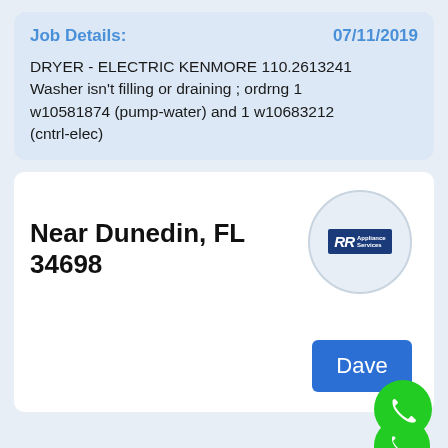Job Details:    07/11/2019
DRYER - ELECTRIC KENMORE 110.2613241 Washer isn't filling or draining ; ordrng 1 w10581874 (pump-water) and 1 w10683212 (cntrl-elec)
Near Dunedin, FL 34698
[Figure (logo): RR Appliance Services logo in a circular frame]
Dave
Job Details:    07/11/2019